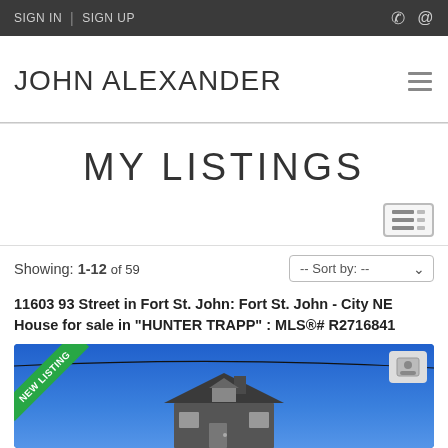SIGN IN | SIGN UP
JOHN ALEXANDER
MY LISTINGS
Showing: 1-12 of 59
11603 93 Street in Fort St. John: Fort St. John - City NE House for sale in "HUNTER TRAPP" : MLS®# R2716841
[Figure (photo): House exterior photo showing a home with blue sky background and a green NEW LISTING ribbon banner in the corner.]